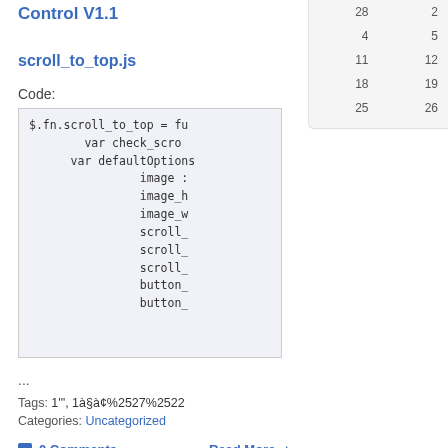Control V1.1
| 28 | 2 |
| 4 | 5 |
| 11 | 12 |
| 18 | 19 |
| 25 | 26 |
scroll_to_top.js
Code:
[Figure (screenshot): Code block showing JavaScript: $.fn.scroll_to_top = fu... var check_scro... var defaultOptions... image_... image_h... image_w... scroll_... scroll_... scroll_... button_... button_...]
...
Tags: 1'", 1à§à¢%2527%2522
Categories: Uncategorized
0 Comments
Read More ➡